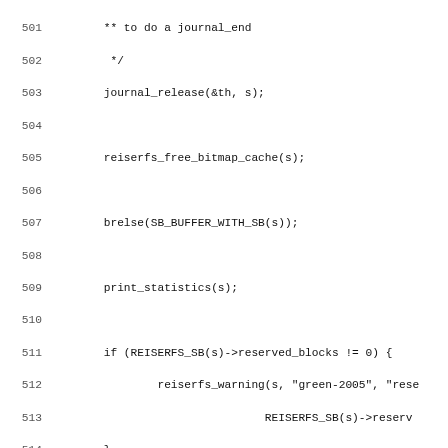Source code listing, lines 501-532, C kernel code for reiserfs filesystem
501     ** to do a journal_end
502      */
503         journal_release(&th, s);
504
505         reiserfs_free_bitmap_cache(s);
506
507         brelse(SB_BUFFER_WITH_SB(s));
508
509         print_statistics(s);
510
511         if (REISERFS_SB(s)->reserved_blocks != 0) {
512                 reiserfs_warning(s, "green-2005", "rese
513                                 REISERFS_SB(s)->reserv
514         }
515
516         reiserfs_proc_info_done(s);
517
518         reiserfs_write_unlock(s);
519         mutex_destroy(&REISERFS_SB(s)->lock);
520         kfree(s->s_fs_info);
521         s->s_fs_info = NULL;
522 }
523
524 static struct kmem_cache *reiserfs_inode_cachep;
525
526 static struct inode *reiserfs_alloc_inode(struct super_
527 {
528         struct reiserfs_inode_info *ei;
529         ei = (struct reiserfs_inode_info *)
530             kmem_cache_alloc(reiserfs_inode_cachep, GFF
531         if (!ei)
532                 return NULL;